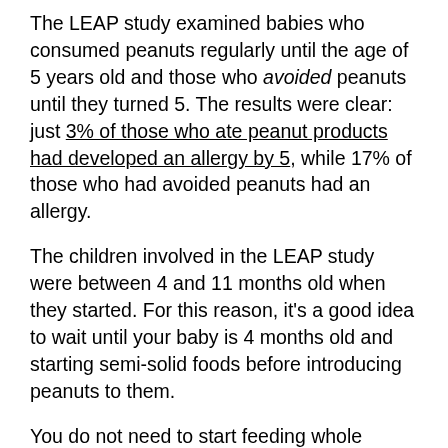The LEAP study examined babies who consumed peanuts regularly until the age of 5 years old and those who avoided peanuts until they turned 5. The results were clear: just 3% of those who ate peanut products had developed an allergy by 5, while 17% of those who had avoided peanuts had an allergy.
The children involved in the LEAP study were between 4 and 11 months old when they started. For this reason, it's a good idea to wait until your baby is 4 months old and starting semi-solid foods before introducing peanuts to them.
You do not need to start feeding whole peanuts – they are a choking hazard, so it's best to look to peanut-containing foods or peanut butter. Those in the study were only required to consume a